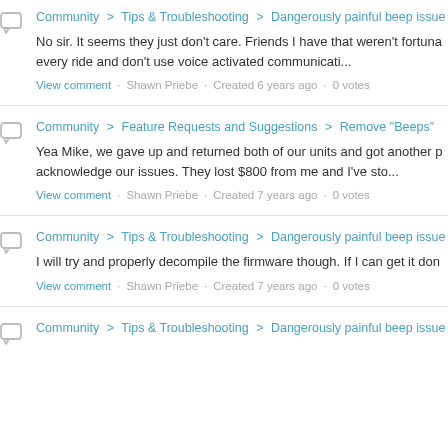Community > Tips & Troubleshooting > Dangerously painful beep issue
No sir. It seems they just don't care. Friends I have that weren't fortuna every ride and don't use voice activated communicati...
View comment · Shawn Priebe · Created 6 years ago · 0 votes
Community > Feature Requests and Suggestions > Remove "Beeps"
Yea Mike, we gave up and returned both of our units and got another p acknowledge our issues. They lost $800 from me and I've sto...
View comment · Shawn Priebe · Created 7 years ago · 0 votes
Community > Tips & Troubleshooting > Dangerously painful beep issue
I will try and properly decompile the firmware though. If I can get it don
View comment · Shawn Priebe · Created 7 years ago · 0 votes
Community > Tips & Troubleshooting > Dangerously painful beep issue